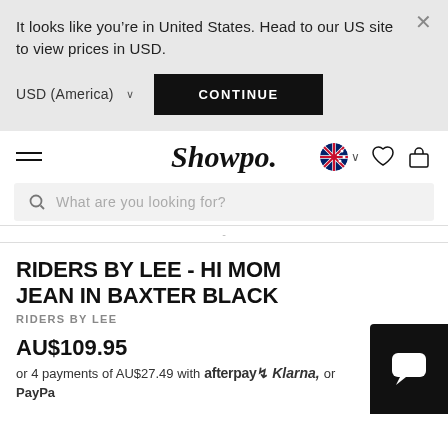It looks like you're in United States. Head to our US site to view prices in USD.
USD (America) ∨
CONTINUE
[Figure (logo): Showpo. logo in bold italic serif font]
What are you looking for?
RIDERS BY LEE - HI MOM JEAN IN BAXTER BLACK
RIDERS BY LEE
AU$109.95
or 4 payments of AU$27.49 with afterpay⟳ Klarna, or PayPa